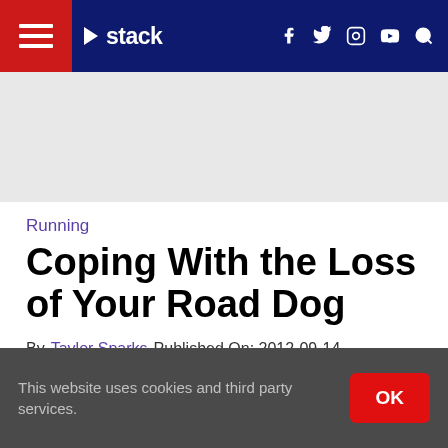stack — navigation bar with hamburger menu, logo, social icons (f, Twitter, Instagram, YouTube), search
[Figure (other): Gray advertisement placeholder banner]
Running
Coping With the Loss of Your Road Dog
By Taylor Sparks   Published On: 2012-09-14
[Figure (other): Black video/image area]
This website uses cookies and third party services.